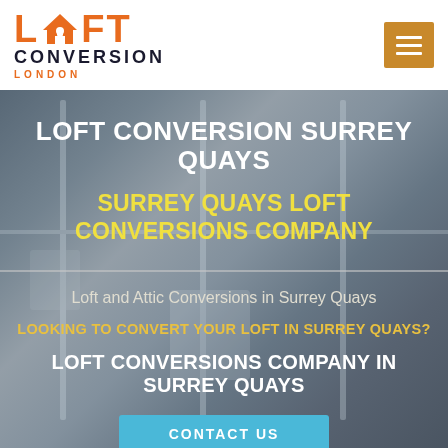[Figure (logo): Loft Conversion London logo with orange house icon]
[Figure (other): Orange hamburger menu button]
[Figure (photo): Background photo of a modern loft bathroom interior, muted blue-grey tones]
LOFT CONVERSION SURREY QUAYS
SURREY QUAYS LOFT CONVERSIONS COMPANY
Loft and Attic Conversions in Surrey Quays
LOOKING TO CONVERT YOUR LOFT IN SURREY QUAYS?
LOFT CONVERSIONS COMPANY IN SURREY QUAYS
CONTACT US